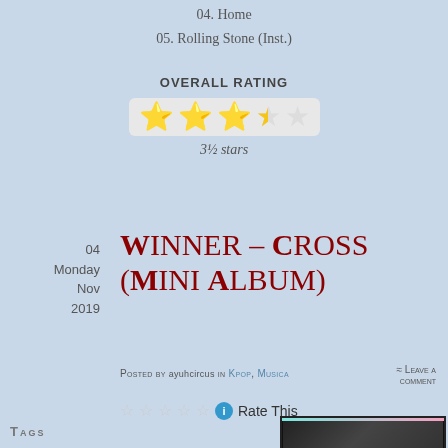04. Home
05. Rolling Stone (Inst.)
OVERALL RATING
[Figure (other): Star rating display: 3.5 out of 5 stars (3 full gold stars, 1 half gold star, 1 empty star) on a light grey background]
3½ stars
04
Monday
Nov
2019
WINNER – Cross (Mini Album)
Posted by ayuhcircus in Kpop, Musica
≈ Leave a comment
[Figure (other): 5 empty star rating widget with info icon and 'Rate This' label]
[Figure (photo): Album cover photo, partially visible, dark background with colored border (pink/teal)]
Tags